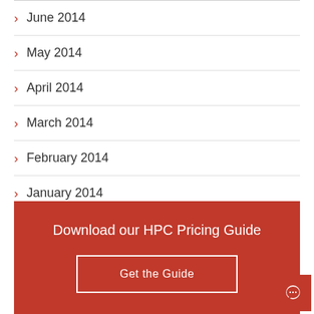June 2014
May 2014
April 2014
March 2014
February 2014
January 2014
Download our HPC Pricing Guide
Get the Guide